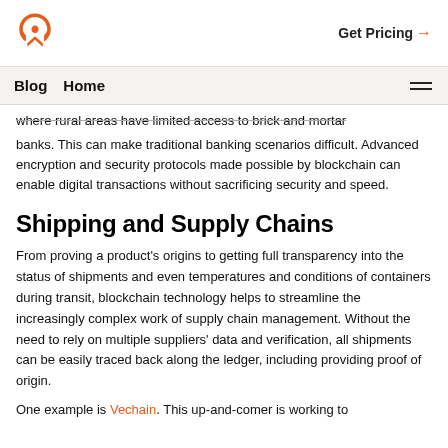Get Pricing →
Blog Home
where rural areas have limited access to brick and mortar banks. This can make traditional banking scenarios difficult. Advanced encryption and security protocols made possible by blockchain can enable digital transactions without sacrificing security and speed.
Shipping and Supply Chains
From proving a product's origins to getting full transparency into the status of shipments and even temperatures and conditions of containers during transit, blockchain technology helps to streamline the increasingly complex work of supply chain management. Without the need to rely on multiple suppliers' data and verification, all shipments can be easily traced back along the ledger, including providing proof of origin.
One example is Vechain. This up-and-comer is working to